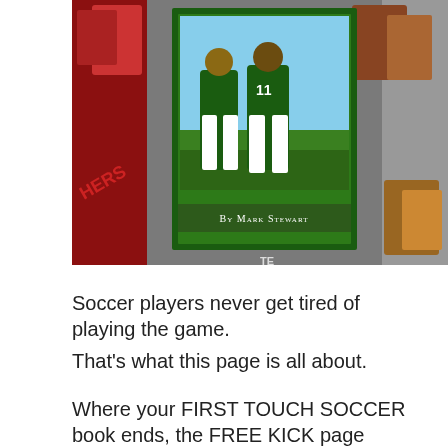[Figure (photo): Book cover for a Portland Timbers soccer book by Mark Stewart, showing soccer players in green uniforms, with a green border and byline 'By Mark Stewart' at the bottom.]
Soccer players never get tired of playing the game.
That's what this page is all about.
Where your FIRST TOUCH SOCCER book ends, the FREE KICK page begins.
It's a chance for you to learn more about the Timbers … and for me to talk about some of the great stories I couldn't squeeze into the book.
Scroll down to get the latest news … and to learn more about American soccer. And check out some of the